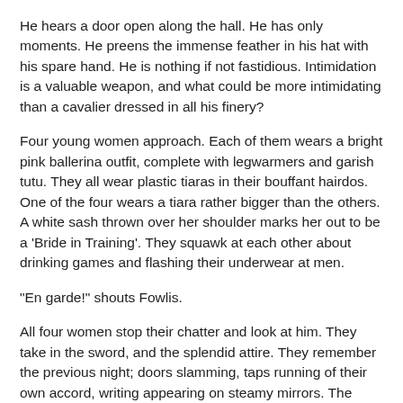He hears a door open along the hall. He has only moments. He preens the immense feather in his hat with his spare hand. He is nothing if not fastidious. Intimidation is a valuable weapon, and what could be more intimidating than a cavalier dressed in all his finery?
Four young women approach. Each of them wears a bright pink ballerina outfit, complete with legwarmers and garish tutu. They all wear plastic tiaras in their bouffant hairdos. One of the four wears a tiara rather bigger than the others. A white sash thrown over her shoulder marks her out to be a 'Bride in Training'. They squawk at each other about drinking games and flashing their underwear at men.
"En garde!" shouts Fowlis.
All four women stop their chatter and look at him. They take in the sword, and the splendid attire. They remember the previous night; doors slamming, taps running of their own accord, writing appearing on steamy mirrors. The trainee bride turns white first; her cronies follow suit. They flee. He can hear their screams echoing throughout the house as